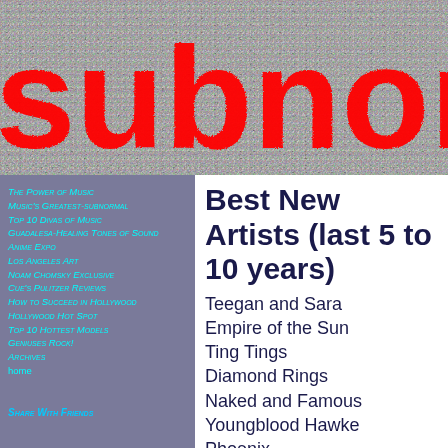subnor
The Power of Music
Music's Greatest-subnormal
Top 10 Divas of Music
Guadalesa-Healing Tones of Sound
Anime Expo
Los Angeles Art
Noam Chomsky Exclusive
Cue's Pulitzer Reviews
How to Succeed in Hollywood
Hollywood Hot Spot
Top 10 Hottest Models
Geniuses Rock!
Archives
home
Share With Friends
Best New Artists (last 5 to 10 years)
Teegan and Sara
Empire of the Sun
Ting Tings
Diamond Rings
Naked and Famous
Youngblood Hawke
Phoenix